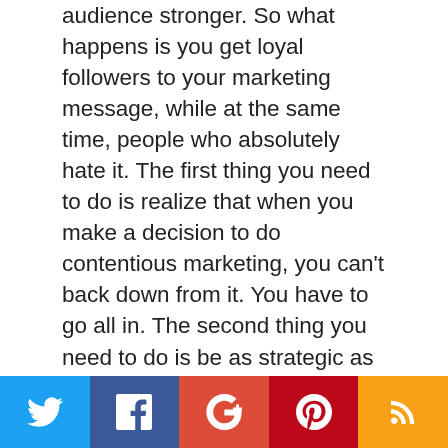audience stronger. So what happens is you get loyal followers to your marketing message, while at the same time, people who absolutely hate it. The first thing you need to do is realize that when you make a decision to do contentious marketing, you can't back down from it. You have to go all in. The second thing you need to do is be as strategic as possible. Think through the campaign from front to end. Is what you are saying going to offend your target market? What benefits will you gain? How will the message be communicated in the mainstream media? The third thing you need to do is come up with multiple concepts of the same message. Once you have these, you will be able to run them by your peers and people outside of your industry to see how they react to the content. Most importantly, you need to get some samples of reactions from the other
[Figure (other): Social media share bar with five buttons: Twitter (blue), Facebook (dark blue), Google+ (red), Pinterest (dark red), RSS (orange)]